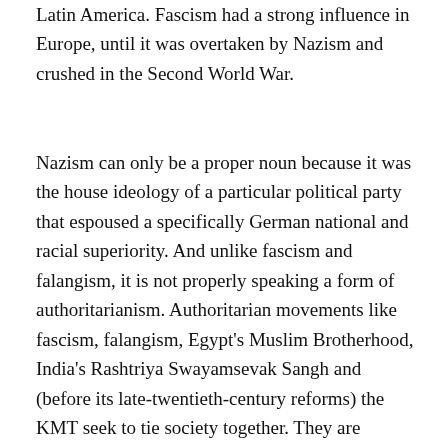Latin America. Fascism had a strong influence in Europe, until it was overtaken by Nazism and crushed in the Second World War.
Nazism can only be a proper noun because it was the house ideology of a particular political party that espoused a specifically German national and racial superiority. And unlike fascism and falangism, it is not properly speaking a form of authoritarianism. Authoritarian movements like fascism, falangism, Egypt's Muslim Brotherhood, India's Rashtriya Swayamsevak Sangh and (before its late-twentieth-century reforms) the KMT seek to tie society together. They are explicitly anti-liberal, but not necessarily evil. People who were suckled on Anglo-American